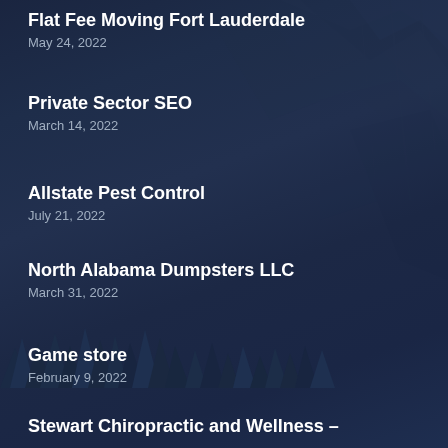Flat Fee Moving Fort Lauderdale
May 24, 2022
Private Sector SEO
March 14, 2022
Allstate Pest Control
July 21, 2022
North Alabama Dumpsters LLC
March 31, 2022
Game store
February 9, 2022
Stewart Chiropractic and Wellness –